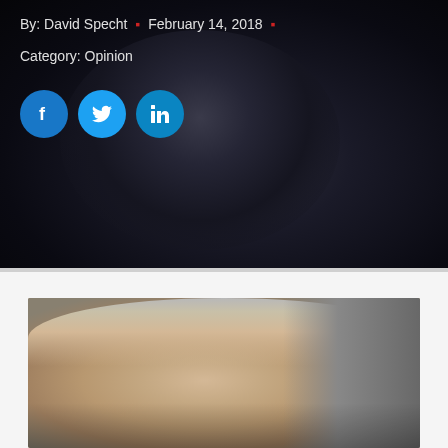[Figure (photo): Dark portrait photo of a person in dark clothing, used as article header background]
By: David Specht · February 14, 2018 ·
Category: Opinion
[Figure (infographic): Social sharing buttons: Facebook, Twitter, LinkedIn]
[Figure (photo): Portrait photo of a middle-aged man with grey hair against a grey background]